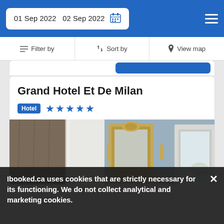01 Sep 2022  02 Sep 2022
Filter by  Sort by  View map
Grand Hotel Et De Milan
Hotel ★★★★★
[Figure (photo): Elegant hotel room interior with blue walls, ornate gold-framed mirror above fireplace, classic blue upholstered furniture, and chandelier]
Ibooked.ca uses cookies that are strictly necessary for its functioning. We do not collect analytical and marketing cookies.
131 reviews